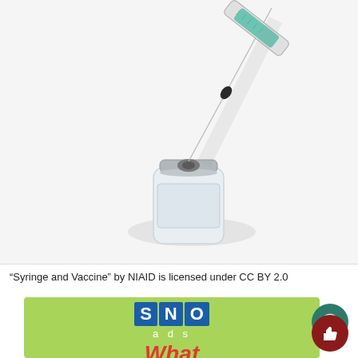[Figure (photo): A medical syringe with a green/teal needle being inserted into the rubber stopper of a small glass vaccine vial, on a white background.]
“Syringe and Vaccine” by NIAID is licensed under CC BY 2.0
[Figure (logo): SNO ads logo on a green background with 'What' text below in red italic, and a cat image partially visible. Two circular buttons on the right: a teal comment bubble button and a dark red thumbs-up button.]